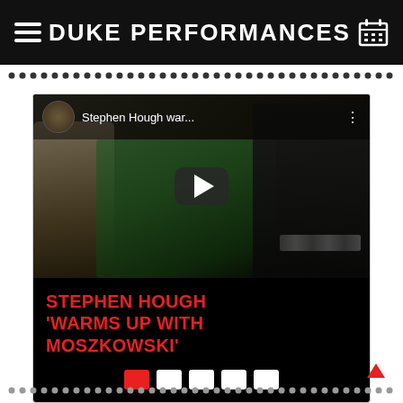DUKE PERFORMANCES
[Figure (screenshot): YouTube video thumbnail showing Stephen Hough playing piano with text overlay 'STEPHEN HOUGH WARMS UP WITH MOSZKOWSKI' and carousel navigation dots]
STEPHEN HOUGH 'WARMS UP WITH MOSZKOWSKI'